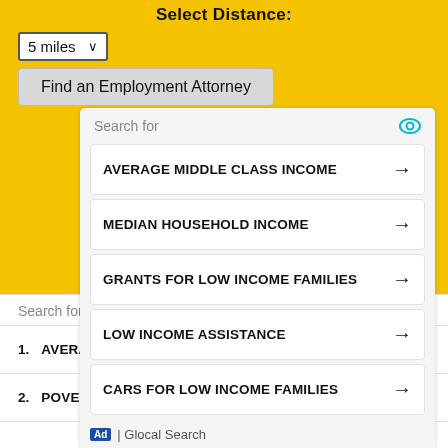Select Distance:
5 miles (dropdown)
Find an Employment Attorney
[Figure (screenshot): Ad widget box with search items: AVERAGE MIDDLE CLASS INCOME, MEDIAN HOUSEHOLD INCOME, GRANTS FOR LOW INCOME FAMILIES, LOW INCOME ASSISTANCE, CARS FOR LOW INCOME FAMILIES. Footer: Ad | Glocal Search]
report this ad
Search for
1. AVERAGE MIDDLE CLASS INCOME →
2. POVERTY LEVEL INCOME →